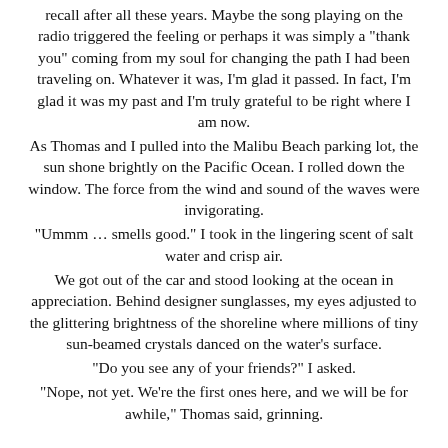recall after all these years. Maybe the song playing on the radio triggered the feeling or perhaps it was simply a "thank you" coming from my soul for changing the path I had been traveling on. Whatever it was, I'm glad it passed. In fact, I'm glad it was my past and I'm truly grateful to be right where I am now.
As Thomas and I pulled into the Malibu Beach parking lot, the sun shone brightly on the Pacific Ocean. I rolled down the window. The force from the wind and sound of the waves were invigorating.
"Ummm … smells good." I took in the lingering scent of salt water and crisp air.
We got out of the car and stood looking at the ocean in appreciation. Behind designer sunglasses, my eyes adjusted to the glittering brightness of the shoreline where millions of tiny sun-beamed crystals danced on the water's surface.
"Do you see any of your friends?" I asked.
"Nope, not yet. We're the first ones here, and we will be for awhile," Thomas said, grinning.